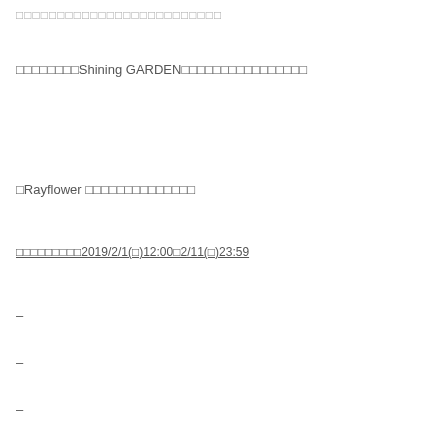□□□□□□□□□□□□□□□□□□□□□□□□□
□□□□□□□□Shining GARDEN□□□□□□□□□□□□□□□□
□Rayflower □□□□□□□□□□□□□□
□□□□□□□□□2019/2/1(□)12:00□2/11(□)23:59
–
–
–